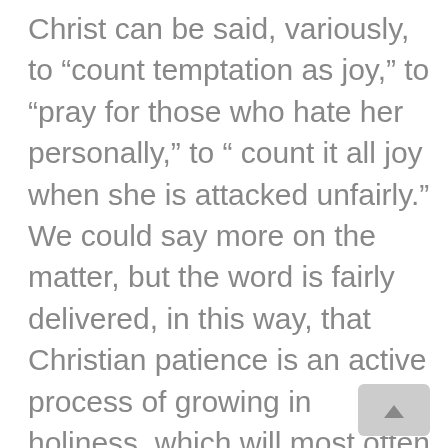Christ can be said, variously, to “count temptation as joy,” to “pray for those who hate her personally,” to “ count it all joy when she is attacked unfairly.” We could say more on the matter, but the word is fairly delivered, in this way, that Christian patience is an active process of growing in holiness, which will most often be recognized as virtue by those who see its fruit.